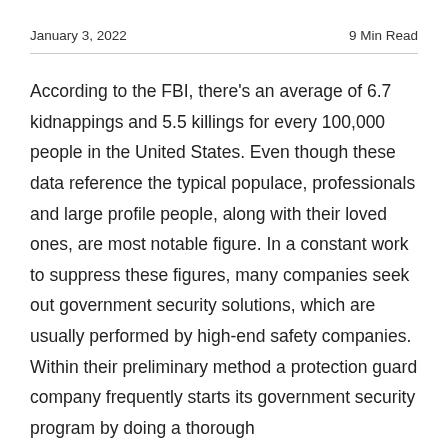January 3, 2022    9 Min Read
According to the FBI, there's an average of 6.7 kidnappings and 5.5 killings for every 100,000 people in the United States. Even though these data reference the typical populace, professionals and large profile people, along with their loved ones, are most notable figure. In a constant work to suppress these figures, many companies seek out government security solutions, which are usually performed by high-end safety companies. Within their preliminary method a protection guard company frequently starts its government security program by doing a thorough